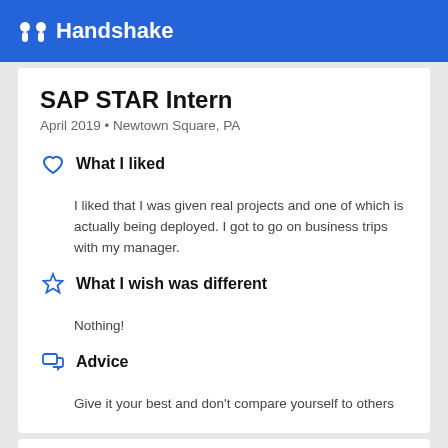Handshake
SAP STAR Intern
April 2019 • Newtown Square, PA
What I liked
I liked that I was given real projects and one of which is actually being deployed. I got to go on business trips with my manager.
What I wish was different
Nothing!
Advice
Give it your best and don't compare yourself to others
1 person found this helpful